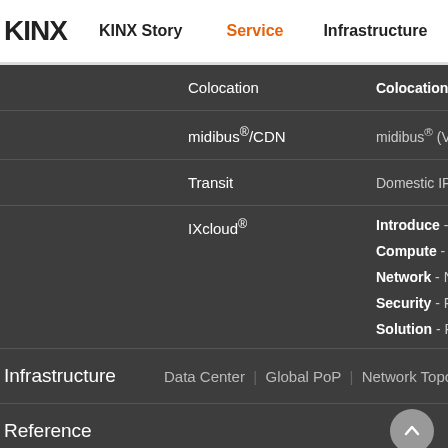KINX | KINX Story | Service | Infrastructure
Colocation — Colocation/Hosting | DDoS
midibus®/CDN — midibus® (Video/Live Streaming)
Transit — Domestic IP Transit | International
IXcloud® — Introduce - About IXcloud | Multizone | Compute - Instance | Auto Scaling | Network - Network | Load Balance | Security - Firewall | Web Firewall | Solution - Private Cloud | Hybrid Cloud
Infrastructure — Data Center | Global PoP | Network Topology
Reference
Resource — News | Library | FAQ